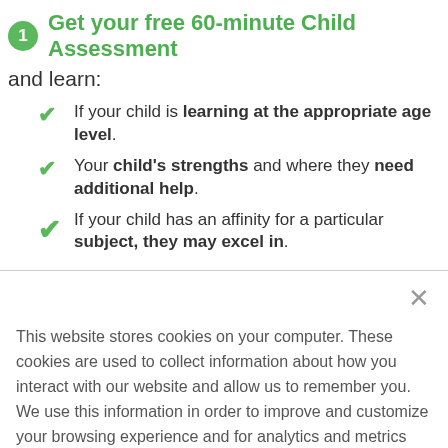Get your free 60-minute Child Assessment
and learn:
If your child is learning at the appropriate age level.
Your child's strengths and where they need additional help.
If your child has an affinity for a particular subject, they may excel in.
This website stores cookies on your computer. These cookies are used to collect information about how you interact with our website and allow us to remember you. We use this information in order to improve and customize your browsing experience and for analytics and metrics about our visitors both on this website and other media. To find out more about the cookies we use, see our Privacy Policy
Accept